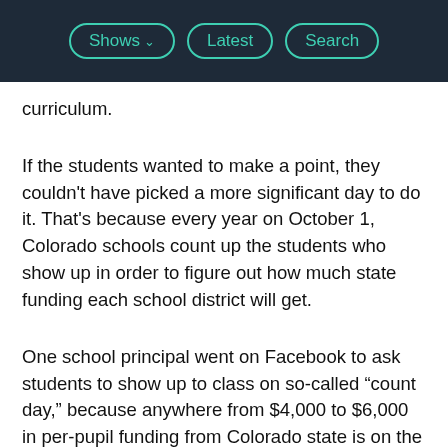Shows  Latest  Search
curriculum.
If the students wanted to make a point, they couldn't have picked a more significant day to do it. That's because every year on October 1, Colorado schools count up the students who show up in order to figure out how much state funding each school district will get.
One school principal went on Facebook to ask students to show up to class on so-called “count day,” because anywhere from $4,000 to $6,000 in per-pupil funding from Colorado state is on the line.
“In the past, school districts have done everything they can to get kids to attend” on count day, says Michael